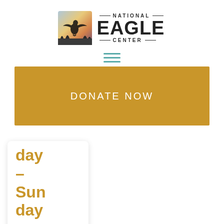[Figure (logo): National Eagle Center logo with eagle silhouette image on left and text 'NATIONAL EAGLE CENTER' on the right]
[Figure (other): Hamburger menu icon — three horizontal teal/cyan lines]
DONATE NOW
day – Sunday